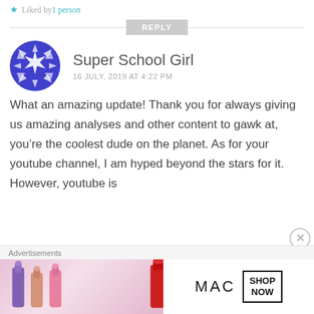Liked by 1 person
REPLY
[Figure (illustration): Blue geometric snowflake/star pattern avatar for Super School Girl]
Super School Girl
16 JULY, 2019 AT 4:22 PM
What an amazing update! Thank you for always giving us amazing analyses and other content to gawk at, you’re the coolest dude on the planet. As for your youtube channel, I am hyped beyond the stars for it. However, youtube is
[Figure (advertisement): MAC cosmetics advertisement showing lipsticks with MAC logo and SHOP NOW button]